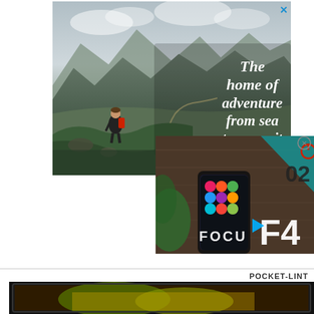[Figure (photo): Adventure advertisement overlay showing a hiker in mountainous landscape with text 'The home of adventure from sea to summit' and The Gear Loop logo at the bottom, with a close (X) button at top right]
[Figure (photo): OPPO F4 smartphone advertisement showing the phone on a wooden surface with green plant, teal background corner with '02', power button icon, and large 'F4' text overlay, with a circular close button]
POCKET-LINT
[Figure (photo): Bottom strip showing partial image of what appears to be a television or screen displaying nature/yellow scenery, very dark]